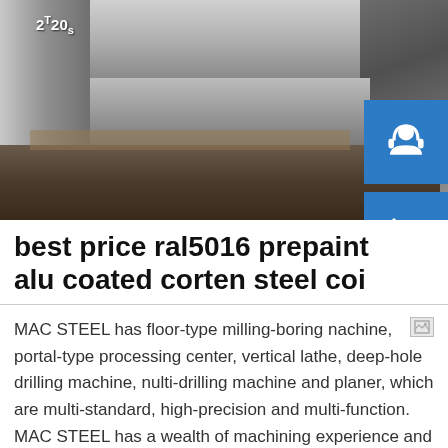[Figure (photo): Stacked steel plates/billets in a storage or warehouse setting, with label '2T20s' visible on surface]
best price ral5016 prepaint alu coated corten steel coi
MAC STEEL has floor-type milling-boring nachine, portal-type processing center, vertical lathe, deep-hole drilling machine, nulti-drilling machine and planer, which are multi-standard, high-precision and multi-function. MAC STEEL has a wealth of machining experience and cases, such as the processing of tube sheets, food